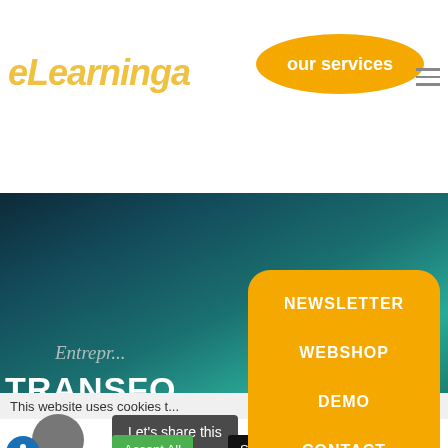[Figure (screenshot): eLearning website screenshot showing header with yellow italic logo text 'eLearning', orange 'our services' oval button/bubble, hamburger menu icon, teal/dark gradient hero image area with italic script text 'Entrepr...' and bold white 'TRANSFO...' text, cookie consent bar with 'Let's share this', 'Accept All', and 'Settings' buttons, gray avatar circle, blue accessibility icon, and orange rounded dropdown menu with items NEWSLETTER, WEBSHOP, DEMO, CONTACT]